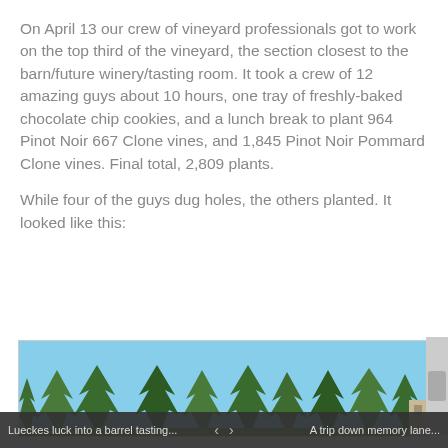On April 13 our crew of vineyard professionals got to work on the top third of the vineyard, the section closest to the barn/future winery/tasting room. It took a crew of 12 amazing guys about 10 hours, one tray of freshly-baked chocolate chip cookies, and a lunch break to plant 964 Pinot Noir 667 Clone vines, and 1,845 Pinot Noir Pommard Clone vines. Final total, 2,809 plants.
While four of the guys dug holes, the others planted. It looked like this:
[Figure (photo): Outdoor photo showing tall evergreen/conifer trees against a blue sky, taken at a vineyard or rural property.]
Lueckes luck into a barrel tasting...   <   >   A trip down memory lane...